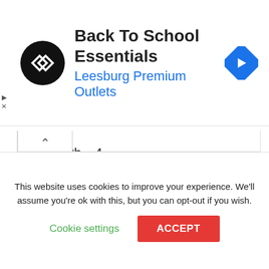[Figure (logo): Back To School Essentials advertisement banner with circular black logo containing double-arrow symbol, title text, blue subtitle 'Leesburg Premium Outlets', and blue diamond navigation arrow icon]
Berth – 4
Axle – Twin
MTPLM – 1500Kg
Length – 599cm (19′ 6″)
Width – 230cm (7′ 5″)
This website uses cookies to improve your experience. We'll assume you're ok with this, but you can opt-out if you wish.
Cookie settings
ACCEPT